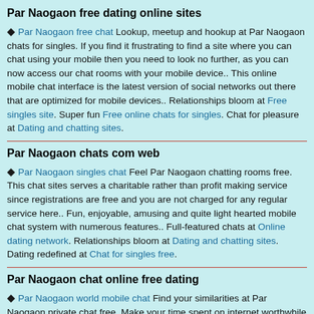Par Naogaon free dating online sites
Par Naogaon free chat Lookup, meetup and hookup at Par Naogaon chats for singles. If you find it frustrating to find a site where you can chat using your mobile then you need to look no further, as you can now access our chat rooms with your mobile device.. This online mobile chat interface is the latest version of social networks out there that are optimized for mobile devices.. Relationships bloom at Free singles site. Super fun Free online chats for singles. Chat for pleasure at Dating and chatting sites.
Par Naogaon chats com web
Par Naogaon singles chat Feel Par Naogaon chatting rooms free. This chat sites serves a charitable rather than profit making service since registrations are free and you are not charged for any regular service here.. Fun, enjoyable, amusing and quite light hearted mobile chat system with numerous features.. Full-featured chats at Online dating network. Relationships bloom at Dating and chatting sites. Dating redefined at Chat for singles free.
Par Naogaon chat online free dating
Par Naogaon world mobile chat Find your similarities at Par Naogaon private chat free. Make your time spent on internet worthwhile by joining a chat site that not only entertains you but also educates you.. Free chat rooms that works on almost every device, from mobile phones, to tablets, to computers, join the best free chat site to get online now!. Lookup, meetup and hookup at Flirting chat room. Checkout handsome men at Best online chat site. Women seeking men at Chat and dating...